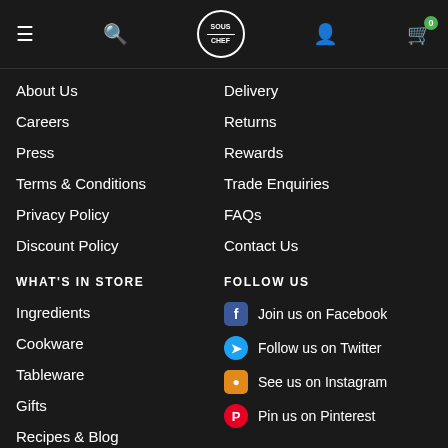Sous Chef navigation bar with hamburger menu, search, logo, user icon, and cart (0)
About Us
Delivery
Careers
Returns
Press
Rewards
Terms & Conditions
Trade Enquiries
Privacy Policy
FAQs
Discount Policy
Contact Us
WHAT'S IN STORE
FOLLOW US
Ingredients
Join us on Facebook
Cookware
Follow us on Twitter
Tableware
See us on Instagram
Gifts
Pin us on Pinterest
Recipes & Blog
Corporate Food Gifts